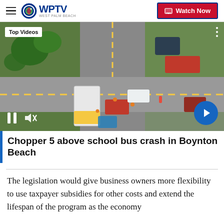WPTV West Palm Beach — Watch Now
[Figure (screenshot): Aerial view of school bus crash scene with multiple vehicles at an intersection, showing emergency vehicles, a yellow school bus, and cars. Overlay shows 'Top Videos' badge, pause and mute controls, and a next-arrow button.]
Chopper 5 above school bus crash in Boynton Beach
The legislation would give business owners more flexibility to use taxpayer subsidies for other costs and extend the lifespan of the program as the economy